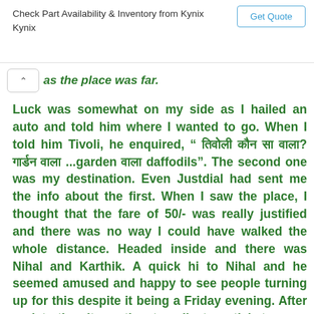Check Part Availability & Inventory from Kynix Kynix | Get Quote
as the place was far.
Luck was somewhat on my side as I hailed an auto and told him where I wanted to go. When I told him Tivoli, he enquired, “ तिवोली कौन सा वाला? गार्डन वाला ...garden वाला daffodils”. The second one was my destination. Even Justdial had sent me the info about the first. When I saw the place, I thought that the fare of 50/- was really justified and there was no way I could have walked the whole distance. Headed inside and there was Nihal and Karthik. A quick hi to Nihal and he seemed amused and happy to see people turning up for this despite it being a Friday evening. After registration, it was time to collect our tickets.